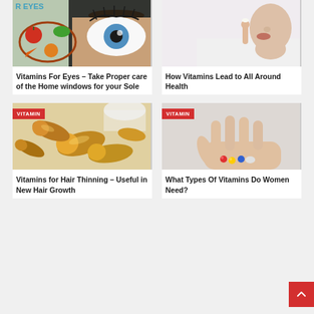[Figure (photo): Photo collage of an eye with fruits and vegetables shaped like eyeglasses, text 'R EYES' visible]
[Figure (photo): Photo of a woman taking a vitamin pill]
Vitamins For Eyes – Take Proper care of the Home windows for your Sole
How Vitamins Lead to All Around Health
[Figure (photo): Photo of golden/amber vitamin capsules spilling from a bottle, with VITAMIN badge]
[Figure (photo): Photo of a hand holding colorful vitamin pills, with VITAMIN badge]
Vitamins for Hair Thinning – Useful in New Hair Growth
What Types Of Vitamins Do Women Need?